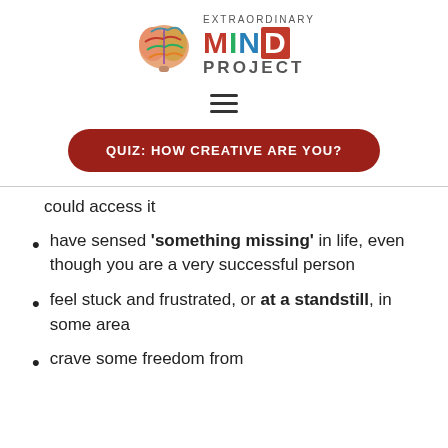[Figure (logo): Extraordinary Mind Project logo with colorful brain graphic and text]
[Figure (other): Hamburger menu icon (three horizontal lines)]
Quiz: HOW CREATIVE ARE YOU?
could access it
have sensed 'something missing' in life, even though you are a very successful person
feel stuck and frustrated, or at a standstill, in some area
crave some freedom from